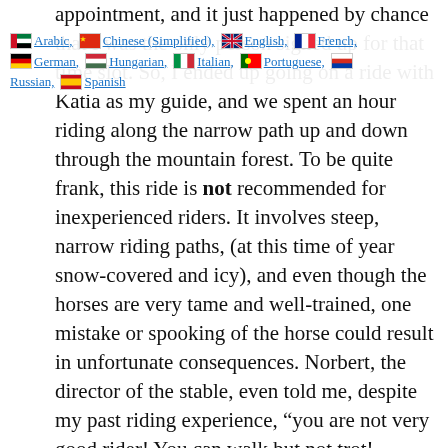appointment, and it just happened by chance that I was the only person signed up for that time slot. So, I ended up going on a ride with Katia as my guide, and we spent an hour riding along the narrow path up and down through the mountain forest. To be quite frank, this ride is not recommended for inexperienced riders. It involves steep, narrow riding paths, (at this time of year snow-covered and icy), and even though the horses are very tame and well-trained, one mistake or spooking of the horse could result in unfortunate consequences. Norbert, the director of the stable, even told me, despite my past riding experience, “you are not very good rider! You can walk but not trot! Normally, you cannot go; but because you are lonely, we make exception”. Lost in translation LOL, but I know what he meant. I was the only rider, and we would go slowly and carefully. This was ok with me, as I wanted to take in the beauty of the forest and the fresh snowflakes as they fell on us. It all felt so surreal, like I was in a storybook; or better yet, a